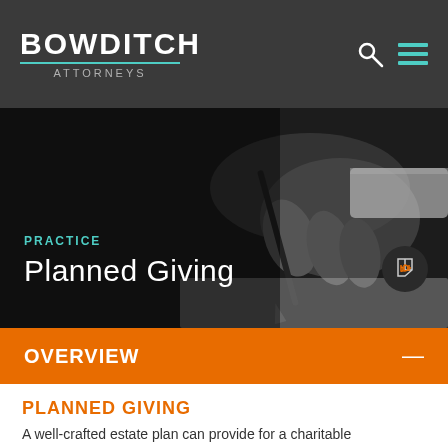BOWDITCH ATTORNEYS
[Figure (photo): Black and white close-up photo of a hand holding a pen, writing on paper, in formal business attire]
PRACTICE
Planned Giving
OVERVIEW
PLANNED GIVING
A well-crafted estate plan can provide for a charitable